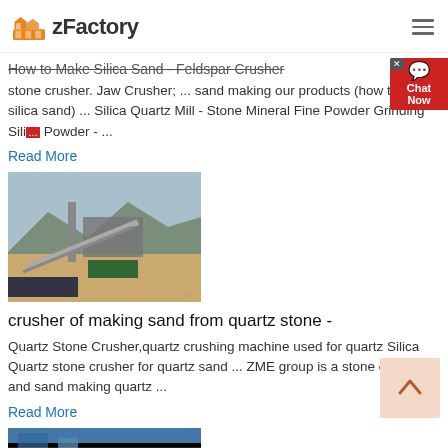zFactory
How to Make Silica Sand - Feldspar Crusher
stone crusher. Jaw Crusher; ... sand making our products (how to make silica sand) ... Silica Quartz Mill - Stone Mineral Fine Powder Grinding Silica Powder - ...
Read More
[Figure (photo): Outdoor industrial plant with conveyor belts and machinery, mountains in background]
crusher of making sand from quartz stone -
Quartz Stone Crusher,quartz crushing machine used for quartz Silica Quartz stone crusher for quartz sand ... ZME group is a stone crusher and sand making quartz ...
Read More
[Figure (photo): Bottom partial image of industrial equipment]